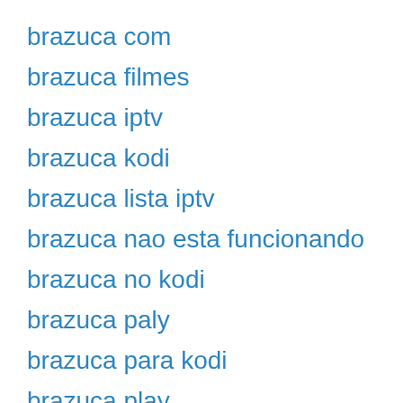brazuca com
brazuca filmes
brazuca iptv
brazuca kodi
brazuca lista iptv
brazuca nao esta funcionando
brazuca no kodi
brazuca paly
brazuca para kodi
brazuca play
brazuca play 2.0
brazuca play 2018 baixar
brazuca play 2020